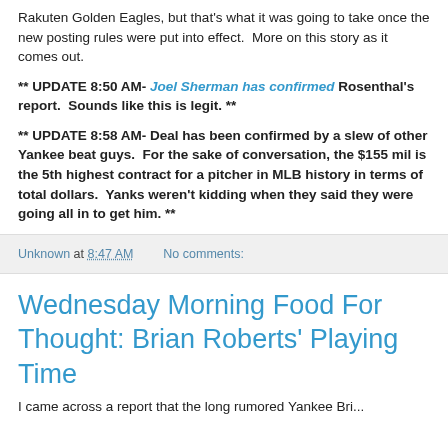Rakuten Golden Eagles, but that's what it was going to take once the new posting rules were put into effect.  More on this story as it comes out.
** UPDATE 8:50 AM- Joel Sherman has confirmed Rosenthal's report.  Sounds like this is legit. **
** UPDATE 8:58 AM- Deal has been confirmed by a slew of other Yankee beat guys.  For the sake of conversation, the $155 mil is the 5th highest contract for a pitcher in MLB history in terms of total dollars.  Yanks weren't kidding when they said they were going all in to get him. **
Unknown at 8:47 AM    No comments:
Wednesday Morning Food For Thought: Brian Roberts' Playing Time
I came across a report that the long rumored Yankee Brian...